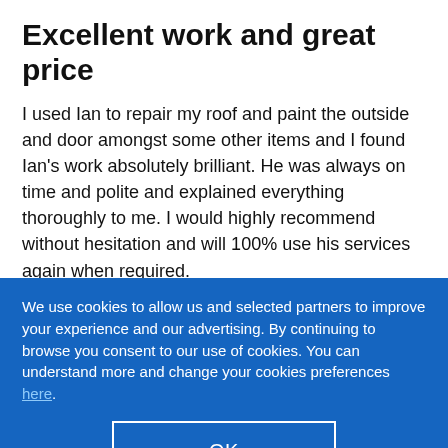Excellent work and great price
I used Ian to repair my roof and paint the outside and door amongst some other items and I found Ian's work absolutely brilliant. He was always on time and polite and explained everything thoroughly to me. I would highly recommend without hesitation and will 100% use his services again when required.
We use cookies to allow us and selected partners to improve your experience and our advertising. By continuing to browse you consent to our use of cookies. You can understand more and change your cookies preferences here.
OK